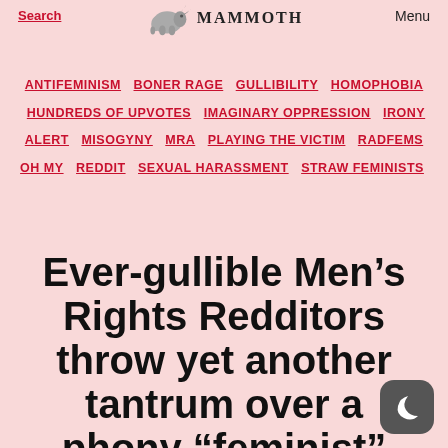Search  MAMMOTH  Menu
ANTIFEMINISM  BONER RAGE  GULLIBILITY  HOMOPHOBIA  HUNDREDS OF UPVOTES  IMAGINARY OPPRESSION  IRONY ALERT  MISOGYNY  MRA  PLAYING THE VICTIM  RADFEMS OH MY  REDDIT  SEXUAL HARASSMENT  STRAW FEMINISTS
Ever-gullible Men’s Rights Redditors throw yet another tantrum over a phony “feminist” screencap [UPDATE: w/ Men’s Rights response]